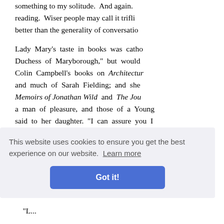something to my solitude. And again. reading. Wiser people may call it trifli better than the generality of conversatio
Lady Mary's taste in books was catho Duchess of Maryborough," but would Colin Campbell's books on Architecture and much of Sarah Fielding; and she Memoirs of Jonathan Wild and The Jou a man of pleasure, and those of a Young said to her daughter. "I can assure you I of whom you have sent me duplicates eldest daughter does a new dress, or playthings for my age. I am not of Cowl
This website uses cookies to ensure you get the best experience on our website. Learn more
Got it!
"L...